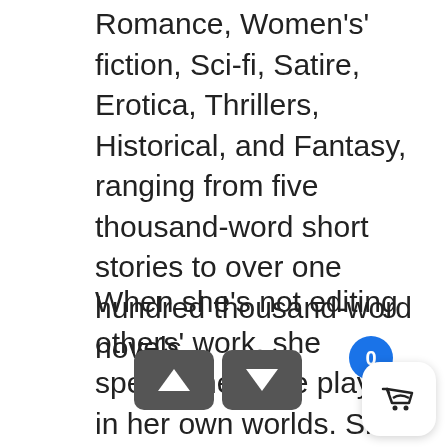Romance, Women's' fiction, Sci-fi, Satire, Erotica, Thrillers, Historical, and Fantasy, ranging from five thousand-word short stories to over one hundred thousand-word novels.
When she's not editing others' work, she spends her time playing in her own worlds. She's published six books in the past four years, both in the traditionally published world and the indie published.
She loves characters who have a pin of spunk, a dash of attitude, and a
[Figure (screenshot): UI overlay showing navigation up/down arrow buttons, a blue circular badge with '0', and a white rounded square basket/shopping cart icon button in the bottom right corner.]